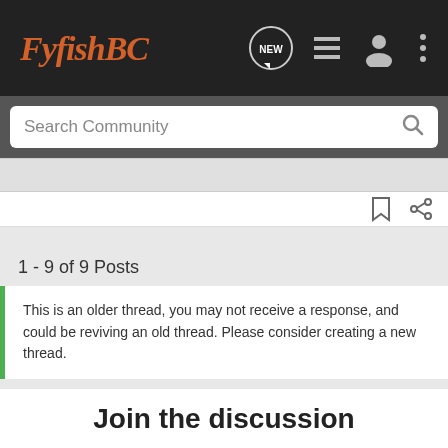[Figure (logo): FyfishBC logo in orange italic script on dark nav bar]
[Figure (screenshot): Navigation icons: NEW speech bubble, list icon, user icon, three dots menu]
Search Community
1 - 9 of 9 Posts
This is an older thread, you may not receive a response, and could be reviving an old thread. Please consider creating a new thread.
Join the discussion
[Figure (infographic): Advertisement banner: YOUR NEW FAVORITE SPORT - EXPLORE HOW TO RESPONSIBLY PARTICIPATE IN THE SHOOTING SPORTS. START HERE!]